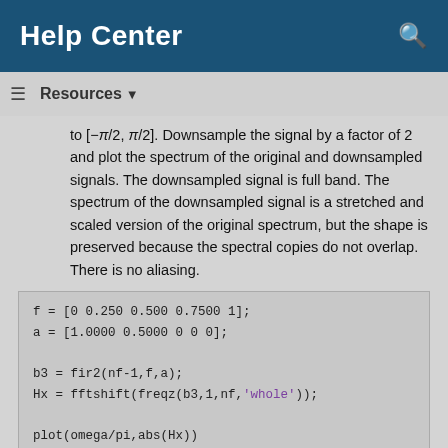Help Center
Resources ▼
to [−π/2, π/2]. Downsample the signal by a factor of 2 and plot the spectrum of the original and downsampled signals. The downsampled signal is full band. The spectrum of the downsampled signal is a stretched and scaled version of the original spectrum, but the shape is preserved because the spectral copies do not overlap. There is no aliasing.
f = [0 0.250 0.500 0.7500 1];
a = [1.0000 0.5000 0 0 0];

b3 = fir2(nf-1,f,a);
Hx = fftshift(freqz(b3,1,nf,'whole'));

plot(omega/pi,abs(Hx))
grid
xlabel('\times\pi rad/sample')
ylabel('Magnitude')

y = downsample(b3,2,0);